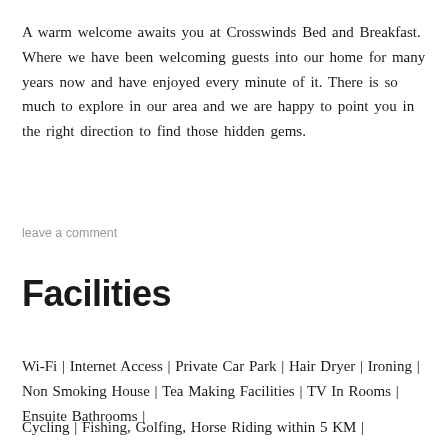A warm welcome awaits you at Crosswinds Bed and Breakfast. Where we have been welcoming guests into our home for many years now and have enjoyed every minute of it. There is so much to explore in our area and we are happy to point you in the right direction to find those hidden gems.
leave a comment
Facilities
Wi-Fi | Internet Access | Private Car Park | Hair Dryer | Ironing | Non Smoking House | Tea Making Facilities | TV In Rooms | Ensuite Bathrooms |
Cycling | Fishing, Golfing, Horse Riding within 5 KM |